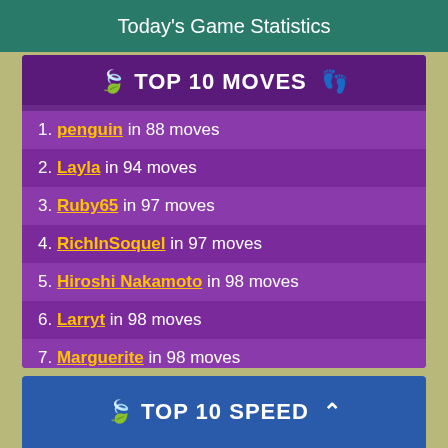Today's Game Statistics
🌿 TOP 10 MOVES 🌿
1. penguin in 88 moves
2. Layla in 94 moves
3. Ruby65 in 97 moves
4. RichInSoquel in 97 moves
5. Hiroshi Nakamoto in 98 moves
6. Larryt in 98 moves
7. Marguerite in 98 moves
8. LarryJ in 99 moves
9. Leelamaria in 99 moves
10. rigged2 in 101 moves
🌿 TOP 10 SPEED 🔼